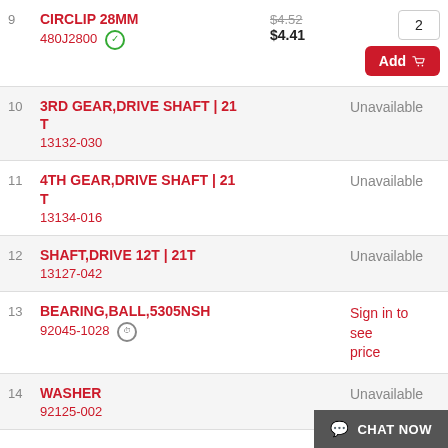| # | Part Name / Number | Price | Qty/Action |
| --- | --- | --- | --- |
| 9 | CIRCLIP 28MM
480J2800 ✓ | $4.52 (was)
$4.41 | 2 / Add |
| 10 | 3RD GEAR,DRIVE SHAFT | 21 T
13132-030 | Unavailable |  |
| 11 | 4TH GEAR,DRIVE SHAFT | 21 T
13134-016 | Unavailable |  |
| 12 | SHAFT,DRIVE 12T | 21T
13127-042 | Unavailable |  |
| 13 | BEARING,BALL,5305NSH
92045-1028 ⏱ | Sign in to see price |  |
| 14 | WASHER
92125-002 | Unavailable |  |